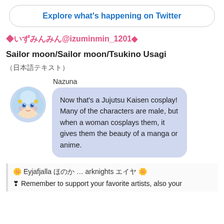Explore what's happening on Twitter
◆いずみんみん@izuminmin_1201◆
Sailor moon/Sailor moon/Tsukino Usagi
（Japanese characters）
[Figure (illustration): Anime-style avatar of a girl with blue-white hair named Nazuna]
Nazuna: Now that's a Jujutsu Kaisen cosplay! Many of the characters are male, but when a woman cosplays them, it gives them the beauty of a manga or anime.
🌼 Eyjafjalla （Japanese） … arknights （Japanese） 🌼
❣ Remember to support your favorite artists, also your